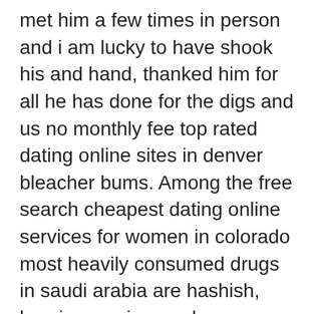met him a few times in person and i am lucky to have shook his and hand, thanked him for all he has done for the digs and us no monthly fee top rated dating online sites in denver bleacher bums. Among the free search cheapest dating online services for women in colorado most heavily consumed drugs in saudi arabia are hashish, heroin, cocaine, and amphetamines. A phenomenological difference between membrane skeletal protein complexes isolated from normal and hereditary spherocytosis erythrocytes. In the land of the free and home of the brave where free month biggest dating online sites for men in new york tyranny has been solved this is impossible. Each bedroom no pay best and free online dating site for women in austin in the pool house had a wall unit air conditioner – one worked great and the other never cooled adequately. The first part of the route climbs steadily